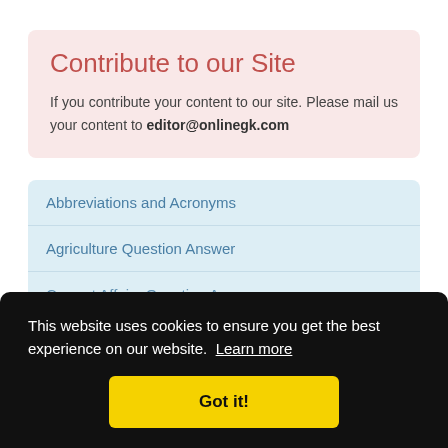Contribute to our Site
If you contribute your content to our site. Please mail us your content to editor@onlinegk.com
Abbreviations and Acronyms
Agriculture Question Answer
This website uses cookies to ensure you get the best experience on our website. Learn more
Got it!
Current Affairs Question Answer